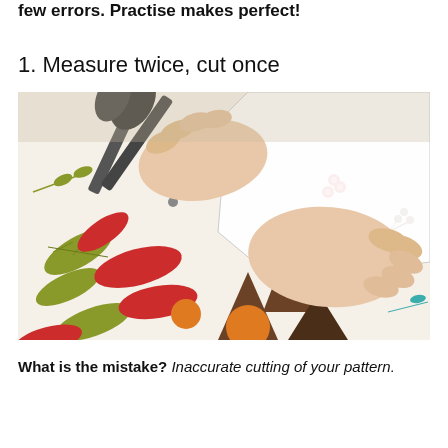few errors. Practise makes perfect!
1. Measure twice, cut once
[Figure (photo): Hands using scissors to cut along a white paper pattern placed on top of colorful fabric with autumn leaf and tree motifs in red, green, brown, orange, and teal on a beige background.]
What is the mistake? Inaccurate cutting of your pattern.